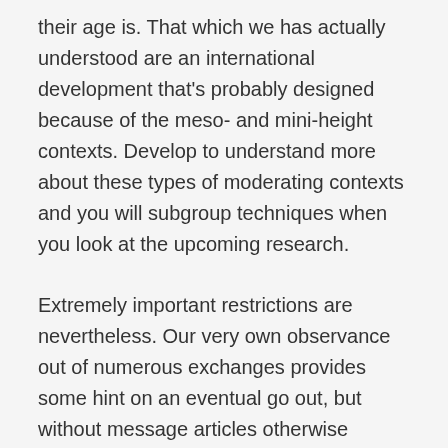their age is. That which we has actually understood are an international development that's probably designed because of the meso- and mini-height contexts. Develop to understand more about these types of moderating contexts and you will subgroup techniques when you look at the upcoming research.
Extremely important restrictions are nevertheless. Our very own observance out of numerous exchanges provides some hint on an eventual go out, but without message articles otherwise pursue-right up interview, they remains possible that handful of such exchanges lead to deal with-to-deal with meetings. Even though the absence of matchmaking outcomes was considered a strong restriction, we believe our very own study feel the crucial benefit of lighting up a procedure that is typically undetectable. The newest pairing and sequencing out-of very first message transfers was once obtainable only